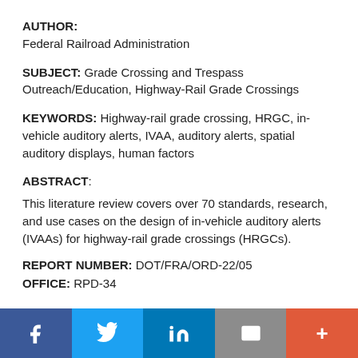AUTHOR: Federal Railroad Administration
SUBJECT: Grade Crossing and Trespass Outreach/Education, Highway-Rail Grade Crossings
KEYWORDS: Highway-rail grade crossing, HRGC, in-vehicle auditory alerts, IVAA, auditory alerts, spatial auditory displays, human factors
ABSTRACT:
This literature review covers over 70 standards, research, and use cases on the design of in-vehicle auditory alerts (IVAAs) for highway-rail grade crossings (HRGCs).
REPORT NUMBER: DOT/FRA/ORD-22/05
OFFICE: RPD-34